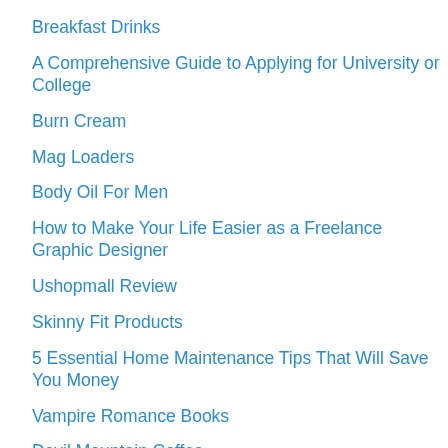Breakfast Drinks
A Comprehensive Guide to Applying for University or College
Burn Cream
Mag Loaders
Body Oil For Men
How to Make Your Life Easier as a Freelance Graphic Designer
Ushopmall Review
Skinny Fit Products
5 Essential Home Maintenance Tips That Will Save You Money
Vampire Romance Books
Devil Mountain Coffee